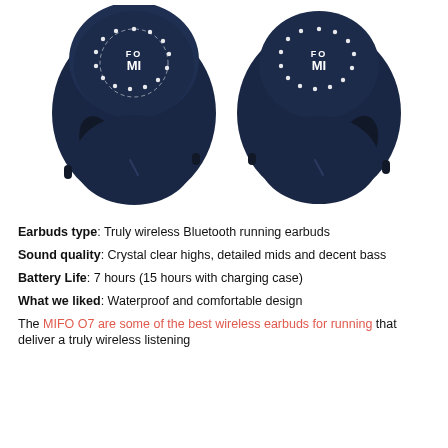[Figure (photo): Two MIFO O7 true wireless Bluetooth earbuds in dark navy blue color, showing the face with white dotted circular MIFO logo pattern, side by side on white background.]
Earbuds type: Truly wireless Bluetooth running earbuds
Sound quality: Crystal clear highs, detailed mids and decent bass
Battery Life: 7 hours (15 hours with charging case)
What we liked: Waterproof and comfortable design
The MIFO O7 are some of the best wireless earbuds for running that deliver a truly wireless listening